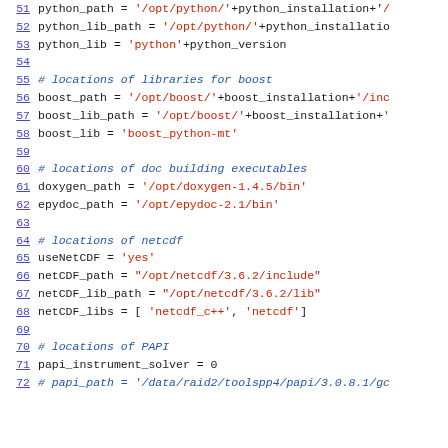Code listing lines 51-72: Python build configuration script showing paths for python, boost, doxygen, epydoc, netcdf, and PAPI libraries
51: python_path = '/opt/python/'+python_installation+'/
52: python_lib_path = '/opt/python/'+python_installatio
53: python_lib = 'python'+python_version
54: (blank)
55: # locations of libraries for boost
56: boost_path = '/opt/boost/'+boost_installation+'/inc
57: boost_lib_path = '/opt/boost/'+boost_installation+'
58: boost_lib = 'boost_python-mt'
59: (blank)
60: # locations of doc building executables
61: doxygen_path = '/opt/doxygen-1.4.5/bin'
62: epydoc_path = '/opt/epydoc-2.1/bin'
63: (blank)
64: # locations of netcdf
65: useNetCDF = 'yes'
66: netCDF_path = "/opt/netcdf/3.6.2/include"
67: netCDF_lib_path = "/opt/netcdf/3.6.2/lib"
68: netCDF_libs = [ 'netcdf_c++', 'netcdf']
69: (blank)
70: # locations of PAPI
71: papi_instrument_solver = 0
72: # papi_path = '/data/raid2/toolspp4/papi/3.0.8.1/gc